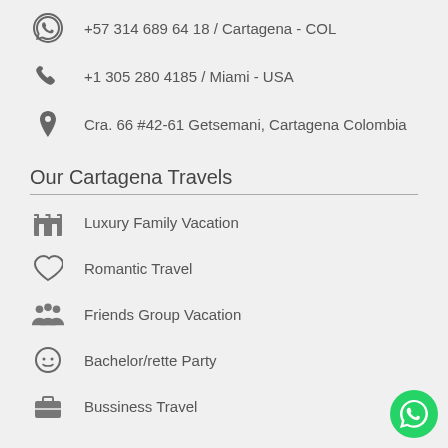+57 314 689 64 18 / Cartagena - COL
+1 305 280 4185 / Miami - USA
Cra. 66 #42-61 Getsemani, Cartagena Colombia
Our Cartagena Travels
Luxury Family Vacation
Romantic Travel
Friends Group Vacation
Bachelor/rette Party
Bussiness Travel